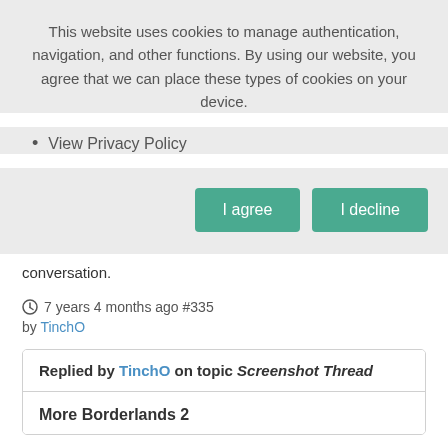This website uses cookies to manage authentication, navigation, and other functions. By using our website, you agree that we can place these types of cookies on your device.
View Privacy Policy
I agree | I decline
conversation.
7 years 4 months ago #335
by TinchO
Replied by TinchO on topic Screenshot Thread
More Borderlands 2